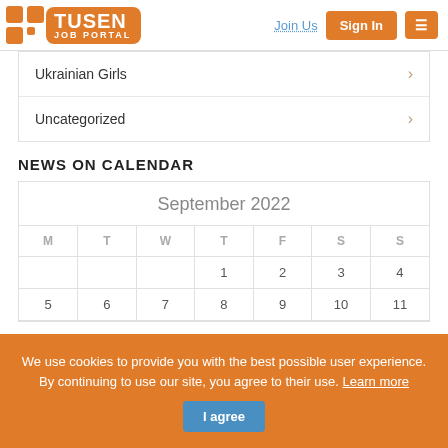[Figure (logo): Tusen Job Portal logo with orange squares icon and orange rounded rectangle with TUSEN JOB PORTAL text]
Ukrainian Girls
Uncategorized
NEWS ON CALENDAR
| M | T | W | T | F | S | S |
| --- | --- | --- | --- | --- | --- | --- |
|  |  |  | 1 | 2 | 3 | 4 |
| 5 | 6 | 7 | 8 | 9 | 10 | 11 |
We use cookies to provide you with the best possible user experience. By continuing to use our site, you agree to their use. Learn more